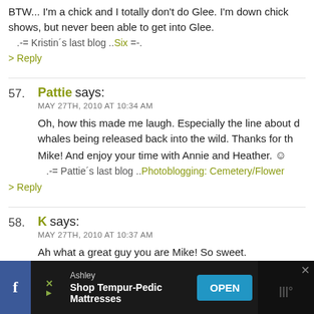BTW... I'm a chick and I totally don't do Glee. I'm down chick shows, but never been able to get into Glee. .-= Kristin´s last blog ..Six =-.
> Reply
57. Pattie says: MAY 27TH, 2010 AT 10:34 AM
Oh, how this made me laugh. Especially the line about d whales being released back into the wild. Thanks for th Mike! And enjoy your time with Annie and Heather. .-= Pattie´s last blog ..Photoblogging: Cemetery/Flower
> Reply
58. K says: MAY 27TH, 2010 AT 10:37 AM
Ah what a great guy you are Mike! So sweet. .-= K´s last blog ..Wherein the pacifist changes her mind
[Figure (screenshot): Mobile advertisement bar at bottom: Facebook icon, X/close button, Ashley Shop Tempur-Pedic Mattresses ad with OPEN button, and a dark right panel with X and logo]